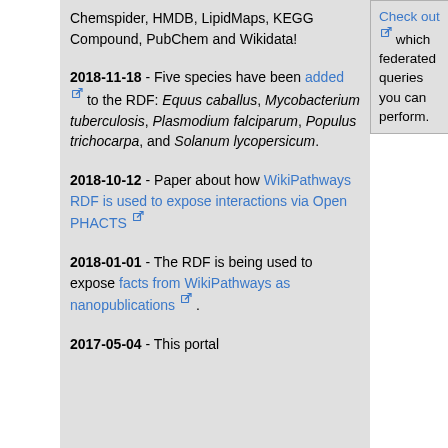Chemspider, HMDB, LipidMaps, KEGG Compound, PubChem and Wikidata!
Check out which federated queries you can perform.
2018-11-18 - Five species have been added to the RDF: Equus caballus, Mycobacterium tuberculosis, Plasmodium falciparum, Populus trichocarpa, and Solanum lycopersicum.
2018-10-12 - Paper about how WikiPathways RDF is used to expose interactions via Open PHACTS
2018-01-01 - The RDF is being used to expose facts from WikiPathways as nanopublications.
2017-05-04 - This portal